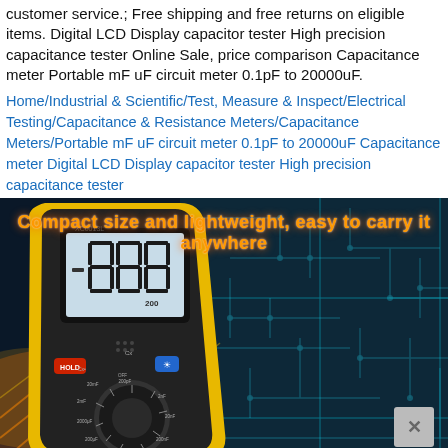customer service.; Free shipping and free returns on eligible items. Digital LCD Display capacitor tester High precision capacitance tester Online Sale, price comparison Capacitance meter Portable mF uF circuit meter 0.1pF to 20000uF.
Home/Industrial & Scientific/Test, Measure & Inspect/Electrical Testing/Capacitance & Resistance Meters/Capacitance Meters/Portable mF uF circuit meter 0.1pF to 20000uF Capacitance meter Digital LCD Display capacitor tester High precision capacitance tester
[Figure (photo): Product photo of XC6013L digital LCD display capacitor tester with yellow and black body, showing LCD screen with '000' display and '200' scale, HOLD button in red, backlight button in blue, and dial selector for capacitance ranges. Background shows a blue circuit board with orange glowing lines. Text overlay reads 'Compact size and lightweight, easy to carry it anywhere' in orange bold font.]